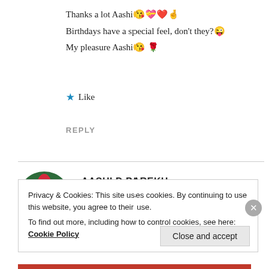Thanks a lot Aashi😘💝❤️🤞
Birthdays have a special feel, don't they?😜
My pleasure Aashi😘🌹
★ Like
REPLY
AASHI D PAREKH
Jul 13, 2020 at 2:39 pm
Privacy & Cookies: This site uses cookies. By continuing to use this website, you agree to their use.
To find out more, including how to control cookies, see here: Cookie Policy
Close and accept